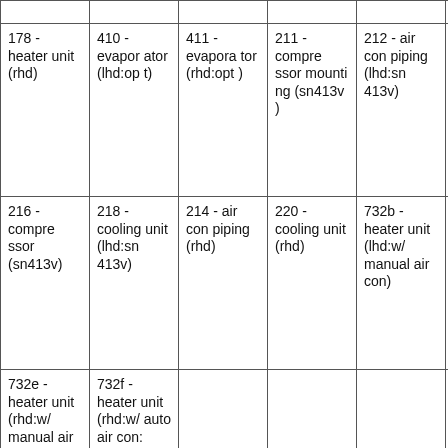|  |  |  |  |  |  |
| 178 - heater unit (rhd) | 410 - evaporator (lhd:opt t) | 411 - evaporator (rhd:opt ) | 211 - compressor mounting (sn413v ) | 212 - air con piping (lhd:sn 413v) | 215 - air con harness (sn413v) |
| 216 - compressor (sn413v) | 218 - cooling unit (lhd:sn 413v) | 214 - air con piping (rhd) | 220 - cooling unit (rhd) | 732b - heater unit (lhd:w/ manual air con) | 732c - heater unit (lhd:w/a uto air con) |
| 732e - heater unit (rhd:w/ manual air con) | 732f - heater unit (rhd:w/ auto air con: (k14c, |  |  |  |  |